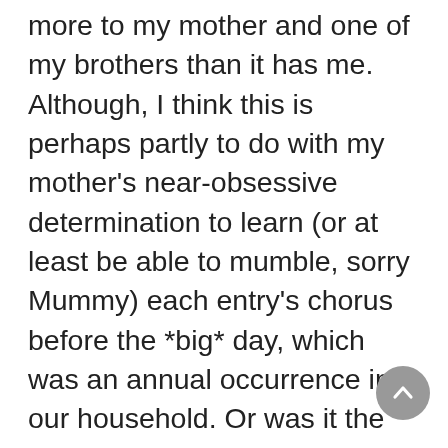more to my mother and one of my brothers than it has me. Although, I think this is perhaps partly to do with my mother's near-obsessive determination to learn (or at least be able to mumble, sorry Mummy) each entry's chorus before the *big* day, which was an annual occurrence in our household. Or was it the twenty-minute blind panic – yes really! – when the box filled with feather boas and sequin ensembles in red, blue, and white would go 'missing'…despite being kept in the same spot in the same cupboard for over a decade.